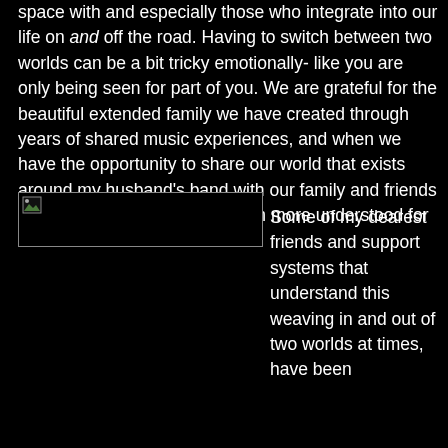space with and especially those who integrate into our life on and off the road. Having to switch between two worlds can be a bit tricky emotionally- like you are only being seen for part of you. We are grateful for the beautiful extended family we have created through years of shared music experiences, and when we have the opportunity to share our world that exists around my husband's band with our family and friends at home, we feel unified or even more understood for the “whole” of who we are.
[Figure (photo): A partially loaded or broken image placeholder showing a small image icon in the top-left corner against a black background, with a grey border.]
Some of my dearest friends and support systems that understand this weaving in and out of two worlds at times, have been